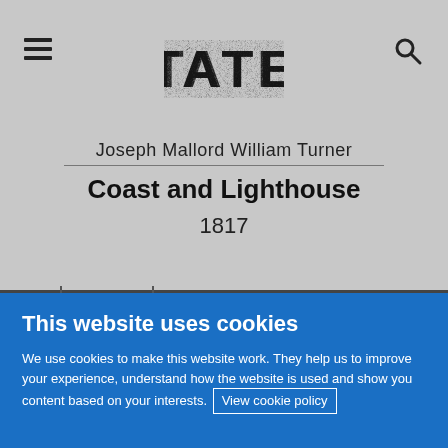TATE
Joseph Mallord William Turner
Coast and Lighthouse
1817
This website uses cookies
We use cookies to make this website work. They help us to improve your experience, understand how the website is used and show you content based on your interests. View cookie policy